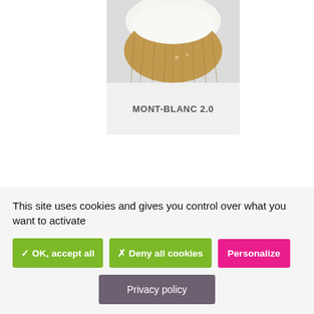[Figure (photo): Photo of a coconut half showing white flesh and brown fibrous shell, on a light grey background. Below the photo is a grey label area with the text MONT-BLANC 2.0.]
MONT-BLANC 2.0
[Figure (photo): Partially visible photo of white flowers with pink tips on green leaves against a light blue background.]
This site uses cookies and gives you control over what you want to activate
✓ OK, accept all
✗ Deny all cookies
Personalize
Privacy policy